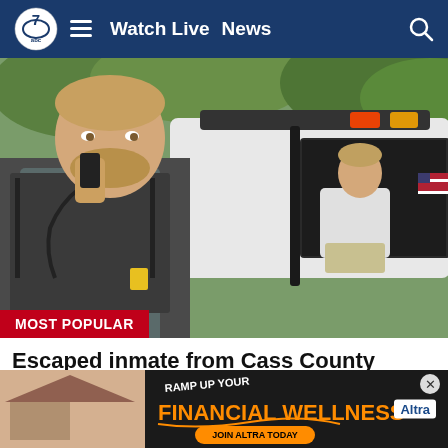Watch Live  News
[Figure (photo): Law enforcement officer in tactical vest holding radio near open police vehicle door, with a man in white long-sleeve shirt seated inside the police SUV. Red and blue lights visible on top. MOST POPULAR badge in red at bottom left.]
Escaped inmate from Cass County captured in Louisiana after chase
KLTV
[Figure (photo): Advertisement banner: RAMP UP YOUR FINANCIAL WELLNESS - JOIN ALTRA TODAY - Altra logo with two women smiling on right side. Peach/tan background.]